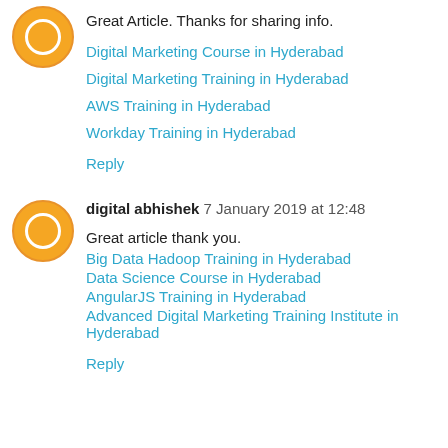Great Article. Thanks for sharing info.
Digital Marketing Course in Hyderabad
Digital Marketing Training in Hyderabad
AWS Training in Hyderabad
Workday Training in Hyderabad
Reply
digital abhishek  7 January 2019 at 12:48
Great article thank you.
Big Data Hadoop Training in Hyderabad
Data Science Course in Hyderabad
AngularJS Training in Hyderabad
Advanced Digital Marketing Training Institute in Hyderabad
Reply